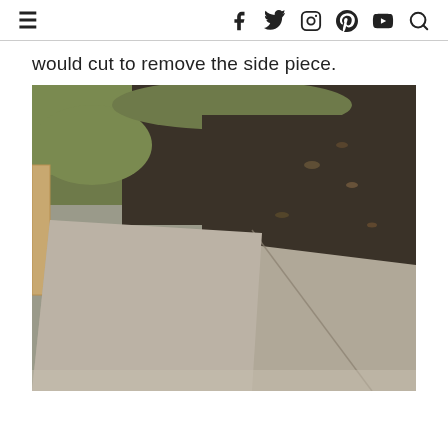≡  f  𝕏  ⊙  ⓟ  ▶  🔍
would cut to remove the side piece.
[Figure (photo): Outdoor photo showing a large flat piece of cardboard or thin board lying on ground, with grass and dark mulch/soil visible in background. A wooden board is visible on the left edge.]